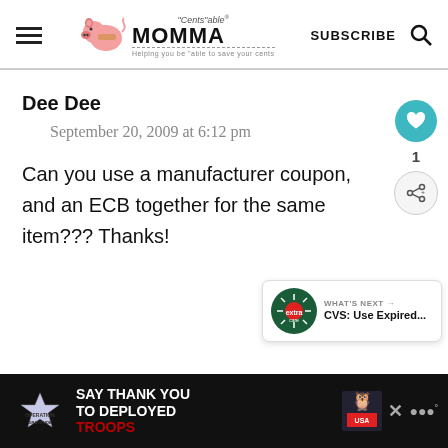[Figure (logo): Cents'able Momma website header logo with piggy bank graphic and tagline 'Helping you be able to save your cents']
Dee Dee
September 20, 2009 at 6:12 pm
Can you use a manufacturer coupon, and an ECB together for the same item??? Thanks!
[Figure (infographic): What's Next widget showing CVS: Use Expired... article preview with ExtraCare logo]
[Figure (infographic): Advertisement banner: Operation Gratitude - SAY THANK YOU TO DEPLOYED TROOPS]